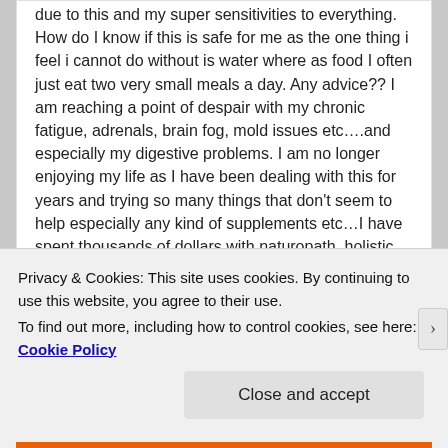due to this and my super sensitivities to everything. How do I know if this is safe for me as the one thing i feel i cannot do without is water where as food I often just eat two very small meals a day. Any advice?? I am reaching a point of despair with my chronic fatigue, adrenals, brain fog, mold issues etc….and especially my digestive problems. I am no longer enjoying my life as I have been dealing with this for years and trying so many things that don't seem to help especially any kind of supplements etc…I have spent thousands of dollars with naturopath, holistic doctors. 😐 Any advice would be helpful.
Privacy & Cookies: This site uses cookies. By continuing to use this website, you agree to their use. To find out more, including how to control cookies, see here: Cookie Policy